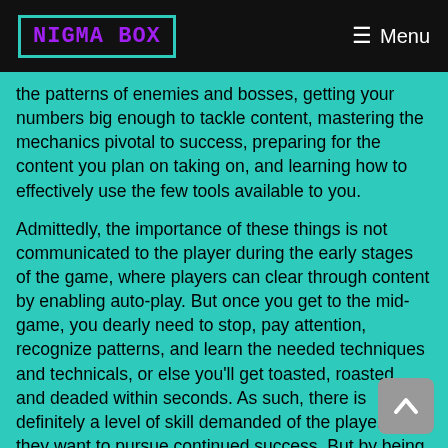NIGMA BOX  ☰ Menu
the patterns of enemies and bosses, getting your numbers big enough to tackle content, mastering the mechanics pivotal to success, preparing for the content you plan on taking on, and learning how to effectively use the few tools available to you.
Admittedly, the importance of these things is not communicated to the player during the early stages of the game, where players can clear through content by enabling auto-play. But once you get to the mid-game, you dearly need to stop, pay attention, recognize patterns, and learn the needed techniques and technicals, or else you'll get toasted, roasted, and deaded within seconds. As such, there is definitely a level of skill demanded of the player if they want to pursue continued success. But by being relatively lax with its inputs, I find the combat system to be far more approachable than standard character